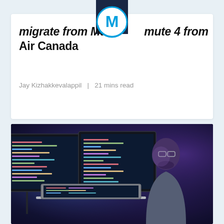MuleSoft logo / brand header
Migrate from Mule 3 to Mule 4 from Air Canada
Jay Kizhakkevalappil  |  21 mins read
[Figure (photo): A developer with glasses looking at multiple computer monitors displaying code in a dimly lit room with blue/purple lighting]